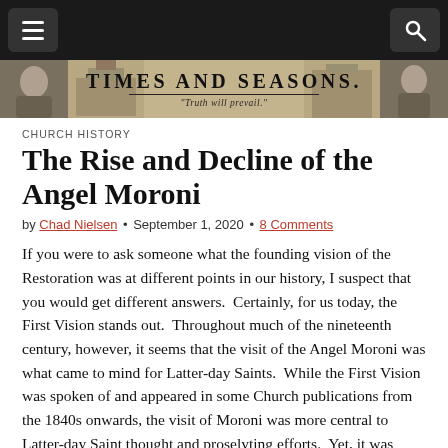Times and Seasons — navigation bar with menu and search buttons
[Figure (illustration): Times and Seasons website banner with historical portraits and the masthead text 'TIMES AND SEASONS. Truth will prevail.']
CHURCH HISTORY
The Rise and Decline of the Angel Moroni
by Chad Nielsen • September 1, 2020 • 8 Comments
If you were to ask someone what the founding vision of the Restoration was at different points in our history, I suspect that you would get different answers.  Certainly, for us today, the First Vision stands out.  Throughout much of the nineteenth century, however, it seems that the visit of the Angel Moroni was what came to mind for Latter-day Saints.  While the First Vision was spoken of and appeared in some Church publications from the 1840s onwards, the visit of Moroni was more central to Latter-day Saint thought and proselyting efforts.  Yet, it was eventually eclipsed by Joseph Smith's vision of the Father and the Son in